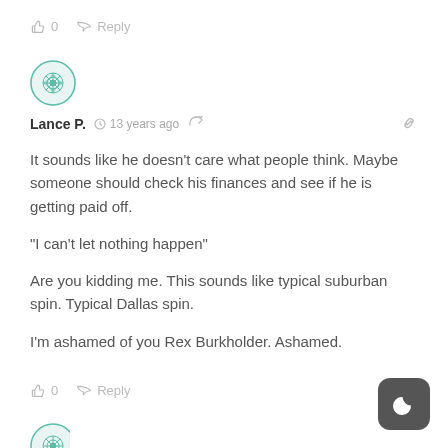👍 0   ↪ Reply
[Figure (illustration): Circular teal/green geometric mandala-style avatar icon]
Lance P.  🕐 13 years ago  < share  🔗
It sounds like he doesn't care what people think. Maybe someone should check his finances and see if he is getting paid off.

"I can't let nothing happen"

Are you kidding me. This sounds like typical suburban spin. Typical Dallas spin.

I'm ashamed of you Rex Burkholder. Ashamed.
👍 0   ↪ Reply
[Figure (illustration): Dark rounded square badge with crescent moon icon (night mode button)]
[Figure (illustration): Partial circular avatar at bottom of page]